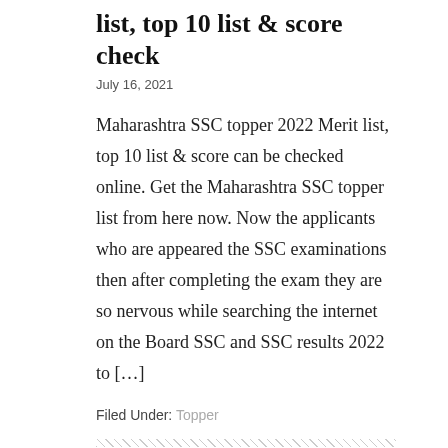list, top 10 list & score check
July 16, 2021
Maharashtra SSC topper 2022 Merit list, top 10 list & score can be checked online. Get the Maharashtra SSC topper list from here now. Now the applicants who are appeared the SSC examinations then after completing the exam they are so nervous while searching the internet on the Board SSC and SSC results 2022 to […]
Filed Under: Topper